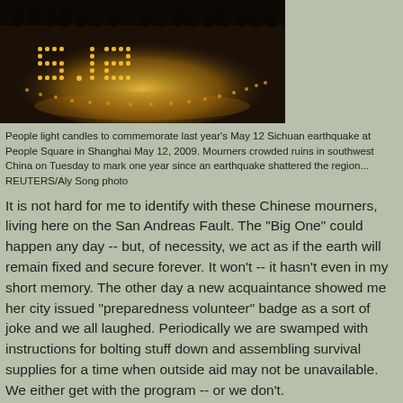[Figure (photo): People standing around candles arranged in the shape of '5.12' on the ground at night, commemorating the Sichuan earthquake.]
People light candles to commemorate last year's May 12 Sichuan earthquake at People Square in Shanghai May 12, 2009. Mourners crowded ruins in southwest China on Tuesday to mark one year since an earthquake shattered the region... REUTERS/Aly Song photo
It is not hard for me to identify with these Chinese mourners, living here on the San Andreas Fault. The "Big One" could happen any day -- but, of necessity, we act as if the earth will remain fixed and secure forever. It won't -- it hasn't even in my short memory. The other day a new acquaintance showed me her city issued "preparedness volunteer" badge as a sort of joke and we all laughed. Periodically we are swamped with instructions for bolting stuff down and assembling survival supplies for a time when outside aid may not be unavailable. We either get with the program -- or we don't.
It's hard to take in the sheer scale of what happened in